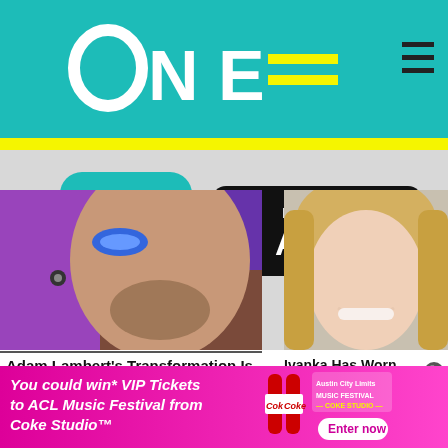[Figure (logo): TV One website header with teal/yellow logo and hamburger menu]
[Figure (logo): TV One app icon and Download on the App Store button on grey background]
[Figure (photo): Close-up photo of Adam Lambert with dramatic eye makeup]
[Figure (photo): Photo of Ivanka Trump smiling, blonde hair]
Adam Lambert's Transformation Is Still Hard To...
Ivanka Has Worn Sketchy Outfits, Here Are The Most
[Figure (infographic): Pink ad banner: You could win* VIP Tickets to ACL Music Festival from Coke Studio. Coca-Cola bottles and Austin City Limits logo with Enter now button.]